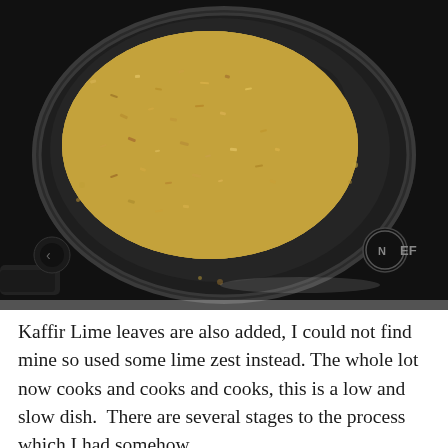[Figure (photo): Overhead photo of a dark non-stick frying pan on a black glass cooktop (NEFF brand). The pan contains golden-brown toasted breadcrumbs or similar dry grain mixture. The cooktop has a circular control indicator and NEFF logo visible in the lower right area.]
Kaffir Lime leaves are also added, I could not find mine so used some lime zest instead. The whole lot now cooks and cooks and cooks, this is a low and slow dish.  There are several stages to the process which I had somehow